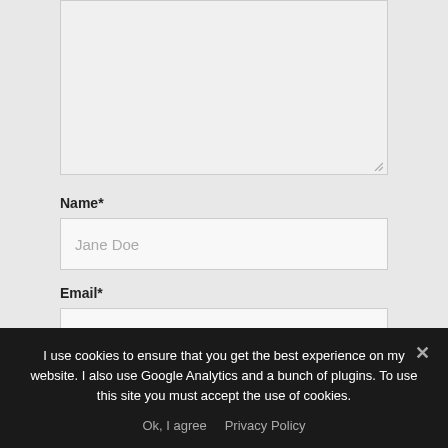[Figure (screenshot): A textarea (comment input box) with a resize handle in the bottom-right corner, with a light gray background and border.]
Name*
[Figure (screenshot): A text input field with placeholder text 'Jane Doe', light gray background and border.]
Email*
[Figure (screenshot): A text input field with placeholder text 'name@email.com', light gray background and border.]
I use cookies to ensure that you get the best experience on my website. I also use Google Analytics and a bunch of plugins. To use this site you must accept the use of cookies.
Ok, I agree   Privacy Policy